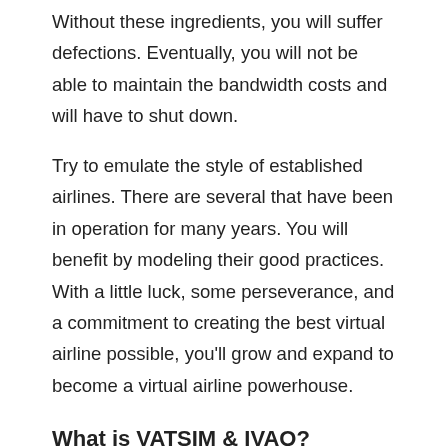Without these ingredients, you will suffer defections. Eventually, you will not be able to maintain the bandwidth costs and will have to shut down.
Try to emulate the style of established airlines. There are several that have been in operation for many years. You will benefit by modeling their good practices. With a little luck, some perseverance, and a commitment to creating the best virtual airline possible, you'll grow and expand to become a virtual airline powerhouse.
What is VATSIM & IVAO?
With the rollout and success of Virtual Airlines, it might not come as too much of a surprise to find other, additional collectives who organize themselves around